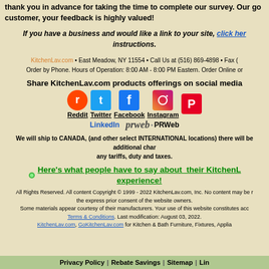thank you in advance for taking the time to complete our survey. Our go customer, your feedback is highly valued!
If you have a business and would like a link to your site, click here instructions.
KitchenLav.com • East Meadow, NY 11554 • Call Us at (516) 869-4898 • Fax • Order by Phone. Hours of Operation: 8:00 AM - 8:00 PM Eastern. Order Online or
Share KitchenLav.com products offerings on social media
[Figure (logo): Social media icons: Reddit, Twitter, Facebook, Instagram, Pinterest, LinkedIn, PRWeb]
We will ship to CANADA, (and other select INTERNATIONAL locations) there will be additional charges for any tariffs, duty and taxes.
Here's what people have to say about their KitchenLav experience!
All Rights Reserved. All content Copyright © 1999 - 2022 KitchenLav.com, Inc. No content may be reproduced without the express prior consent of the website owners. Some materials appear courtesy of their manufacturers. Your use of this website constitutes acceptance of our Terms & Conditions. Last modification: August 03, 2022. KitchenLav.com, GoKitchenLav.com for Kitchen & Bath Furniture, Fixtures, Appliances
Privacy Policy | Rebate Savings | Sitemap | Lin